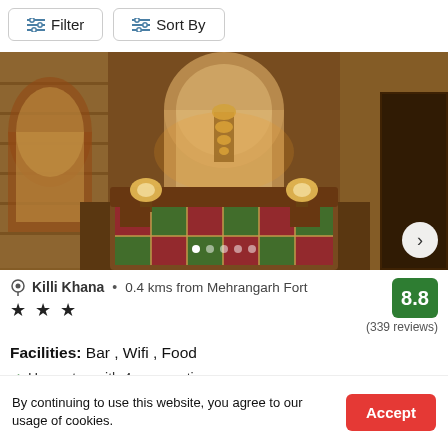Filter
Sort By
[Figure (photo): Hotel room interior showing a double bed with colorful patchwork quilt, stone/brick walls, decorative arches, ambient lamp lighting on both sides, dark wood ceiling]
Killi Khana  •  0.4 kms from Mehrangarh Fort
★ ★ ★
8.8
(339 reviews)
Facilities: Bar , Wifi , Food
✓  Homestay with 4 room options
Enter dates
By continuing to use this website, you agree to our usage of cookies.
Accept